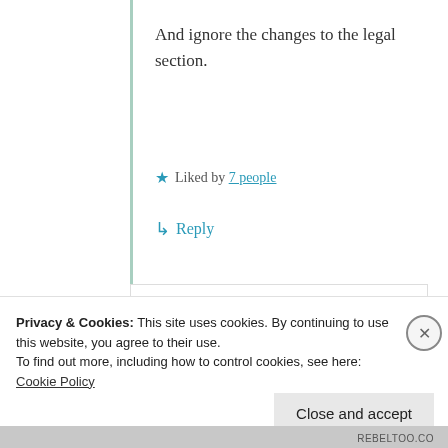And ignore the changes to the legal section.
★ Liked by 7 people
↳ Reply
Wolf Moon
09/02/2021 @
08:14 +00:14
Privacy & Cookies: This site uses cookies. By continuing to use this website, you agree to their use.
To find out more, including how to control cookies, see here: Cookie Policy
Close and accept